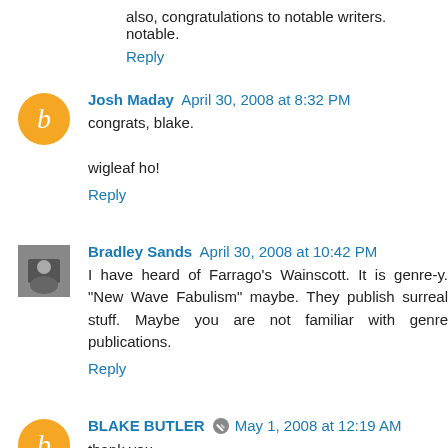also, congratulations to notable writers. notable.
Reply
Josh Maday  April 30, 2008 at 8:32 PM
congrats, blake.

wigleaf ho!
Reply
Bradley Sands  April 30, 2008 at 10:42 PM
I have heard of Farrago's Wainscott. It is genre-y. "New Wave Fabulism" maybe. They publish surreal stuff. Maybe you are not familiar with genre publications.
Reply
BLAKE BUTLER  May 1, 2008 at 12:19 AM
thank you.